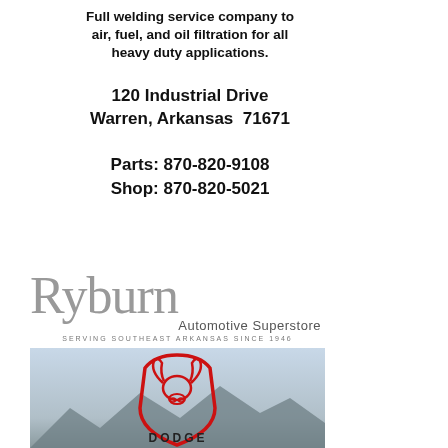Full welding service company to air, fuel, and oil filtration for all heavy duty applications.
120 Industrial Drive
Warren, Arkansas  71671
Parts: 870-820-9108
Shop: 870-820-5021
[Figure (logo): Ryburn Automotive Superstore logo with text 'SERVING SOUTHEAST ARKANSAS SINCE 1946']
[Figure (photo): Dodge logo (ram head in red shield outline) with DODGE text, set against a mountain/sky background]